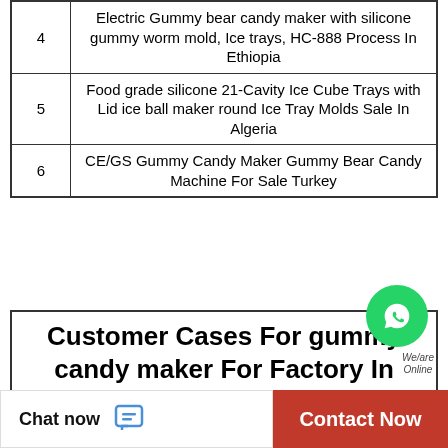| # | Product |
| --- | --- |
| 4 | Electric Gummy bear candy maker with silicone gummy worm mold, Ice trays, HC-888 Process In Ethiopia |
| 5 | Food grade silicone 21-Cavity Ice Cube Trays with Lid ice ball maker round Ice Tray Molds Sale In Algeria |
| 6 | CE/GS Gummy Candy Maker Gummy Bear Candy Machine For Sale Turkey |
Customer Cases For gummy candy maker For Factory In 2021
| # | Product |
| --- | --- |
| 1 | Automatic small jelly candy depositor mini teddy bear gummy making machine For Sale Argentina |
| 2 | Multi Vitamin Gummies candy Premium Hemp Extract Sugar Coated Gummies soft candy maker For Sale Turkey |
[Figure (illustration): WhatsApp contact bubble with green circle icon and 'We/are Online' label]
Chat now
Contact Now